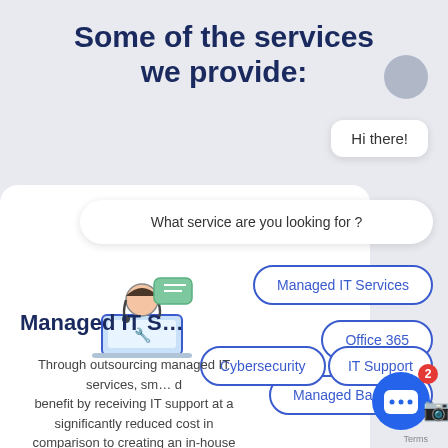Some of the services we provide:
[Figure (screenshot): Chat widget showing a support agent avatar, chat bubbles saying 'Hi there!' and 'What service are you looking for?', with service buttons: Managed IT Services, Office 365, Managed Backups, Cybersecurity, IT Support]
Managed IT S…
Through outsourcing managed IT services, sm… benefit by receiving IT support at a significantly reduced cost in comparison to creating an in-house